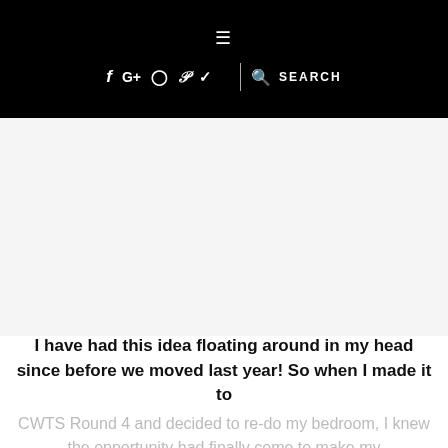≡  f  G+  ⊙  ℗  🐦  🔍 | SEARCH
[Figure (other): Advertisement or blank image area in the middle of the page]
I have had this idea floating around in my head since before we moved last year!  So when I made it to CWTS Round 4 and decided to re-do my bedroom, I knew the opportunity had finally come to make my